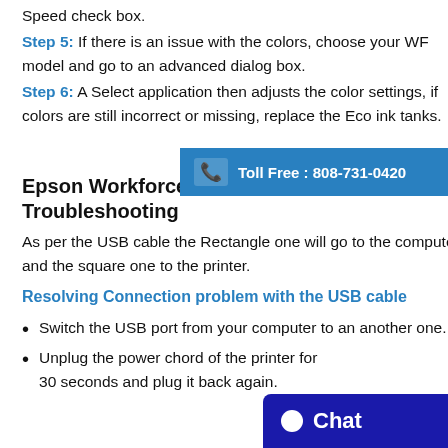Speed check box.
Step 5: If there is an issue with the colors, choose your WF model and go to an advanced dialog box.
Step 6: A Select application then adjusts the color settings, if colors are still incorrect or missing, replace the Eco ink tanks.
[Figure (infographic): Blue banner with phone icon and text: Toll Free : 808-731-0420]
Epson Workforce Pro WF-3720 Troubleshooting
As per the USB cable the Rectangle one will go to the computer and the square one to the printer.
Resolving Connection problem with the USB cable
Switch the USB port from your computer to an another one.
Unplug the power chord of the printer for 30 seconds and plug it back again.
[Figure (infographic): Dark blue chat button with circle dot icon and text: Chat]